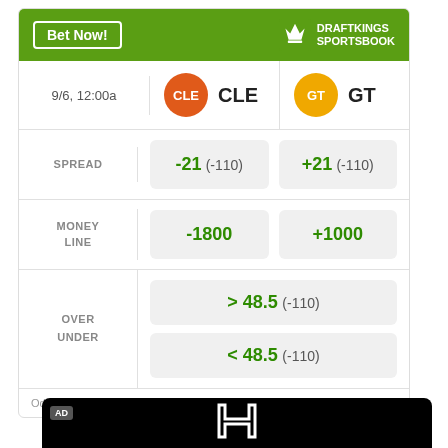[Figure (infographic): DraftKings Sportsbook betting widget showing CLE vs GT game on 9/6 12:00a. Spread: -21 (-110) / +21 (-110). Money Line: -1800 / +1000. Over/Under: > 48.5 (-110) / < 48.5 (-110).]
Odds/Lines subject to change. See draftkings.com for details.
[Figure (logo): Honda advertisement with Honda logo, text HONDA, All-New, HR-V on black background with AD badge.]